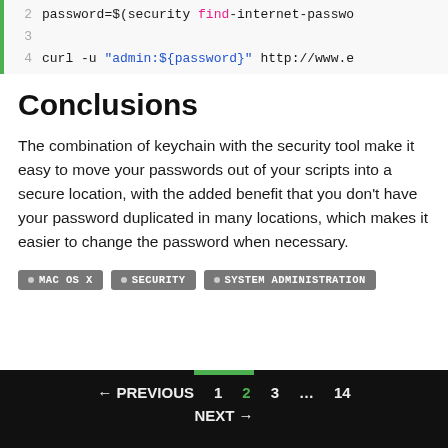[Figure (screenshot): Code block showing shell script lines 2-4. Line 2: password=$(security find-internet-passwo... Line 3: (empty). Line 4: curl -u "admin:${password}" http://www.e]
Conclusions
The combination of keychain with the security tool make it easy to move your passwords out of your scripts into a secure location, with the added benefit that you don't have your password duplicated in many locations, which makes it easier to change the password when necessary.
• MAC OS X  • SECURITY  • SYSTEM ADMINISTRATION
← PREVIOUS  1  2  3  …  14  NEXT →